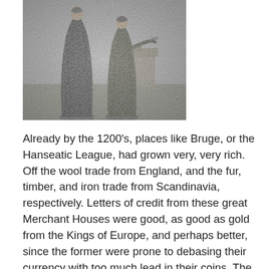[Figure (photo): Black and white historical photograph of two figures in long medieval-style robes or cloaks standing outdoors, with a building visible in the background.]
Already by the 1200's, places like Bruge, or the Hanseatic League, had grown very, very rich. Off the wool trade from England, and the fur, timber, and iron trade from Scandinavia, respectively. Letters of credit from these great Merchant Houses were good, as good as gold from the Kings of Europe, and perhaps better, since the former were prone to debasing their currency with too much lead in their coins. The great late Medieval churches in places like Bruge attest to the power and influence the region in the Belgian and Dutch lowlands possessed. As do surviving churches and houses in Northern Germany built